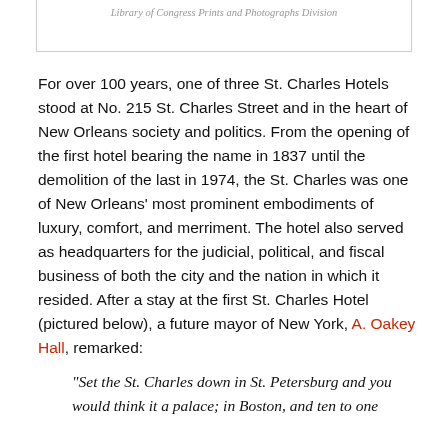Library of Congress Prints and Photographs Division
For over 100 years, one of three St. Charles Hotels stood at No. 215 St. Charles Street and in the heart of New Orleans society and politics. From the opening of the first hotel bearing the name in 1837 until the demolition of the last in 1974, the St. Charles was one of New Orleans' most prominent embodiments of luxury, comfort, and merriment. The hotel also served as headquarters for the judicial, political, and fiscal business of both the city and the nation in which it resided. After a stay at the first St. Charles Hotel (pictured below), a future mayor of New York, A. Oakey Hall, remarked:
“Set the St. Charles down in St. Petersburg and you would think it a palace; in Boston, and ten to one